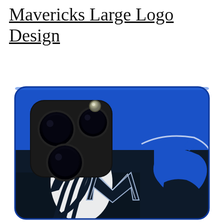Mavericks Large Logo Design
[Figure (photo): Photo of a blue iPhone case with the Dallas Mavericks large logo design printed on the back. The case is shown from the rear, displaying the triple-camera module (three large black circular lenses with a small flash/sensor) in the upper left area. The rest of the case features the Mavericks logo – a stylized horse head with a large 'M' in dark navy/black and white with blue accents against a royal blue background.]